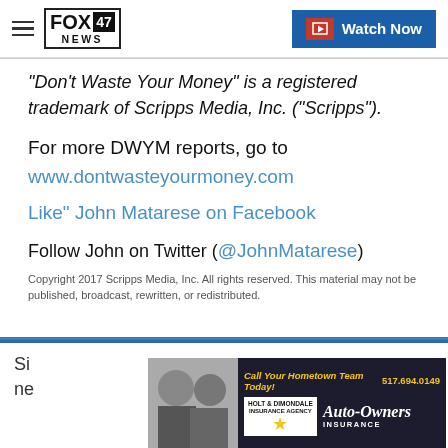FOX 47 NEWS | Watch Now
“Don’t Waste Your Money” is a registered trademark of Scripps Media, Inc. (“Scripps”).
For more DWYM reports, go to www.dontwasteyourmoney.com
Like" John Matarese on Facebook
Follow John on Twitter (@JohnMatarese)
Copyright 2017 Scripps Media, Inc. All rights reserved. This material may not be published, broadcast, rewritten, or redistributed.
[Figure (screenshot): Advertisement banner: Call Your Hometown Team Today! 517.694.0149 — Holt & Dimondale Insurance Agency with Auto-Owners Insurance logo, two people in background]
Si... ne...